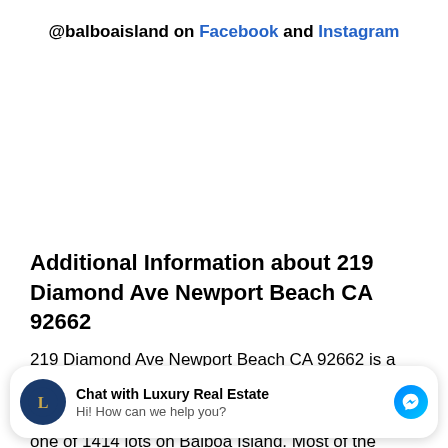@balboaisland on Facebook and Instagram
Additional Information about 219 Diamond Ave Newport Beach CA 92662
219 Diamond Ave Newport Beach CA 92662 is a home on Balboa Island. Balboa Island is located in the harbor of Newport Beach, California. This is one of 1414 lots on Balboa Island. Most of the
[Figure (other): Chat widget overlay: Luxury Real Estate chat bot with logo, title 'Chat with Luxury Real Estate', subtitle 'Hi! How can we help you?' and Facebook Messenger icon]